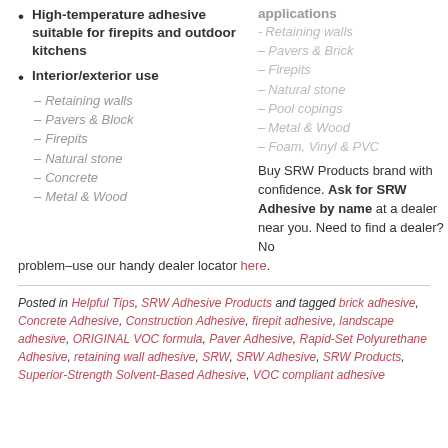High-temperature adhesive suitable for firepits and outdoor kitchens
Interior/exterior use
– Retaining walls
– Pavers & Block
– Firepits
– Natural stone
– Concrete
– Metal & Wood
applications
-Retaining walls
– Pavers & Brick
– Firepits
– Natural stone
– Pool copings
– Metal & Wood
– Foam, Vinyl & PVC
Buy SRW Products brand with confidence. Ask for SRW Adhesive by name at a dealer near you. Need to find a dealer? No problem–use our handy dealer locator here.
Posted in Helpful Tips, SRW Adhesive Products and tagged brick adhesive, Concrete Adhesive, Construction Adhesive, firepit adhesive, landscape adhesive, ORIGINAL VOC formula, Paver Adhesive, Rapid-Set Polyurethane Adhesive, retaining wall adhesive, SRW, SRW Adhesive, SRW Products, Superior-Strength Solvent-Based Adhesive, VOC compliant adhesive